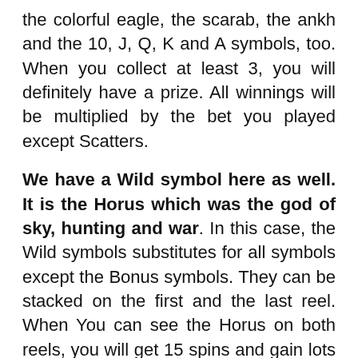the colorful eagle, the scarab, the ankh and the 10, J, Q, K and A symbols, too. When you collect at least 3, you will definitely have a prize. All winnings will be multiplied by the bet you played except Scatters.
We have a Wild symbol here as well. It is the Horus which was the god of sky, hunting and war. In this case, the Wild symbols substitutes for all symbols except the Bonus symbols. They can be stacked on the first and the last reel. When You can see the Horus on both reels, you will get 15 spins and gain lots of wins! Last but not least, there is a Bonus feature where you can choose from 3 very nicely decorated urns if you can land 3 of them in the main game.